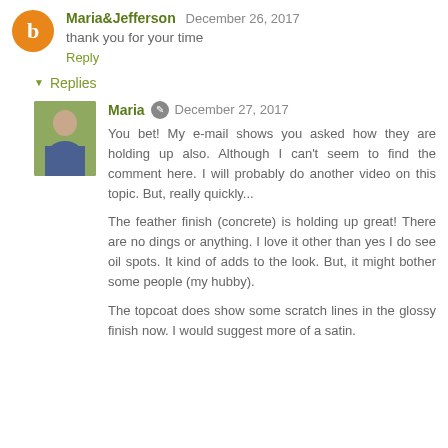Maria&Jefferson  December 26, 2017
thank you for your time
Reply
Replies
Maria  December 27, 2017
You bet! My e-mail shows you asked how they are holding up also. Although I can't seem to find the comment here. I will probably do another video on this topic. But, really quickly...

The feather finish (concrete) is holding up great! There are no dings or anything. I love it other than yes I do see oil spots. It kind of adds to the look. But, it might bother some people (my hubby).

The topcoat does show some scratch lines in the glossy finish now. I would suggest more of a satin.